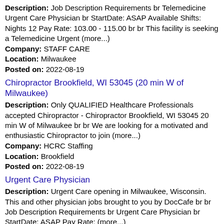Description: Job Description Requirements br Telemedicine Urgent Care Physician br StartDate: ASAP Available Shifts: Nights 12 Pay Rate: 103.00 - 115.00 br br This facility is seeking a Telemedicine Urgent (more...) Company: STAFF CARE Location: Milwaukee Posted on: 2022-08-19
Chiropractor Brookfield, WI 53045 (20 min W of Milwaukee)
Description: Only QUALIFIED Healthcare Professionals accepted Chiropractor - Chiropractor Brookfield, WI 53045 20 min W of Milwaukee br br We are looking for a motivated and enthusiastic Chiropractor to join (more...) Company: HCRC Staffing Location: Brookfield Posted on: 2022-08-19
Urgent Care Physician
Description: Urgent Care opening in Milwaukee, Wisconsin. This and other physician jobs brought to you by DocCafe br br Job Description Requirements br Urgent Care Physician br StartDate: ASAP Pay Rate: (more...) Company: Staff Care Location: Milwaukee Posted on: 2022-08-20
Pediatric or non-Physician Medical and Pediatric Physician